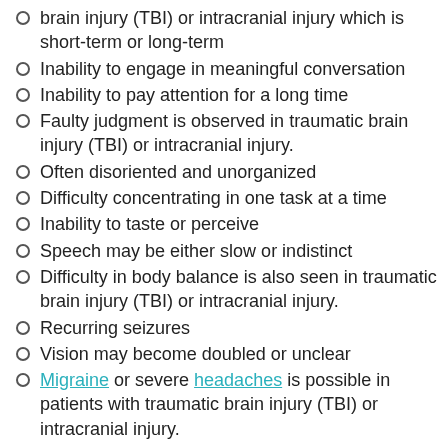brain injury (TBI) or intracranial injury which is short-term or long-term
Inability to engage in meaningful conversation
Inability to pay attention for a long time
Faulty judgment is observed in traumatic brain injury (TBI) or intracranial injury.
Often disoriented and unorganized
Difficulty concentrating in one task at a time
Inability to taste or perceive
Speech may be either slow or indistinct
Difficulty in body balance is also seen in traumatic brain injury (TBI) or intracranial injury.
Recurring seizures
Vision may become doubled or unclear
Migraine or severe headaches is possible in patients with traumatic brain injury (TBI) or intracranial injury.
Tiredness and the need to sleep often
Weakness or stiffness of the muscle.
Physical therapy and rehabilitation centers are very important programs for patients with traumatic brain